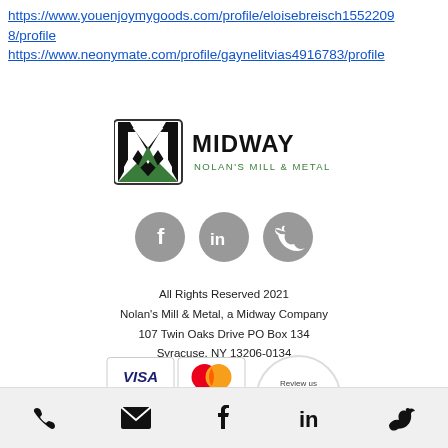https://www.youenjoymygoods.com/profile/eloisebreisch15522098/profile
https://www.neonymate.com/profile/gaynelitvias4916783/profile
[Figure (logo): Midway Nolan's Mill & Metal logo with green M icon and bold MIDWAY text]
[Figure (infographic): Three circular social media icons: Facebook, LinkedIn, Twitter in gray]
All Rights Reserved 2021
Nolan's Mill & Metal, a Midway Company
107 Twin Oaks Drive PO Box 134
Syracuse, NY 13206-0134
[Figure (infographic): Payment method logos: VISA, Mastercard, American Express, Discover, and Review us on Google badge]
Phone, Email, Facebook, LinkedIn, Twitter icons in bottom bar